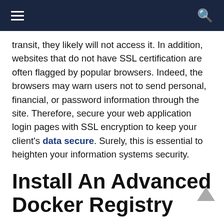≡  🔍
transit, they likely will not access it. In addition, websites that do not have SSL certification are often flagged by popular browsers. Indeed, the browsers may warn users not to send personal, financial, or password information through the site. Therefore, secure your web application login pages with SSL encryption to keep your client's data secure. Surely, this is essential to heighten your information systems security.
Install An Advanced Docker Registry
Next, you can install an advanced Docker registry to increase your web application security.